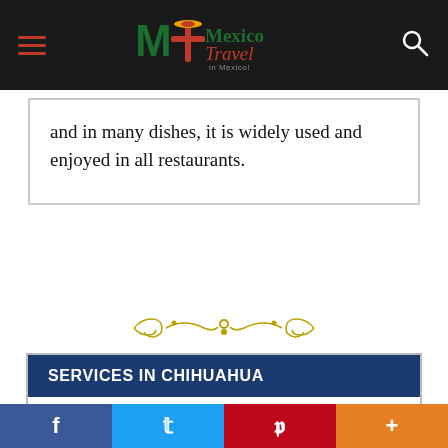Mexico Travel - navigation bar with logo and search icon
and in many dishes, it is widely used and enjoyed in all restaurants.
[Figure (illustration): Decorative gold/olive colored flourish divider ornament]
SERVICES IN CHIHUAHUA
Banks: The banks in Chihuahua are generally opened Monday to Saturday, from 9:00 am to 11:00 pm. There is also a Money Exchange at the bus terminal, but better rates can be found at the banks downtown.
Social share bar: Facebook, Twitter, Pinterest, More